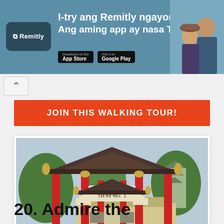[Figure (screenshot): Remitly advertisement banner with teal background. Shows Remitly logo on left, text 'I-try ang Remitly ngayon. Ang aming app ay nasa Tagalog.' in center, App Store and Google Play download buttons, and a photo of two smiling people on the right.]
[Figure (other): Navigation back button (chevron up/back arrow) on grey background]
JOIN THIS WALKING TOUR!
[Figure (photo): Chinese temple entrance gate with red columns, traditional curved roofline with decorative elements, Chinese characters on the arch, and a multi-story pagoda visible in the background. Green trees surround the structure. 'pinoy' watermark visible in bottom right corner.]
20. Admire the